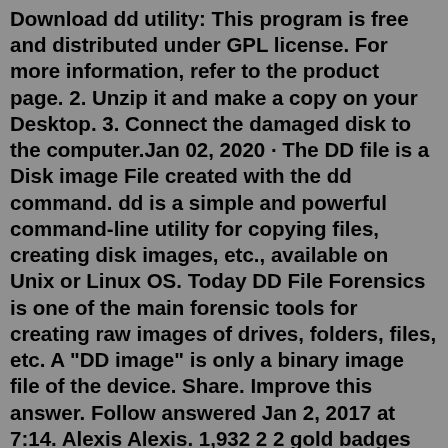Download dd utility: This program is free and distributed under GPL license. For more information, refer to the product page. 2. Unzip it and make a copy on your Desktop. 3. Connect the damaged disk to the computer.Jan 02, 2020 · The DD file is a Disk image File created with the dd command. dd is a simple and powerful command-line utility for copying files, creating disk images, etc., available on Unix or Linux OS. Today DD File Forensics is one of the main forensic tools for creating raw images of drives, folders, files, etc. A "DD image" is only a binary image file of the device. Share. Improve this answer. Follow answered Jan 2, 2017 at 7:14. Alexis Alexis. 1,932 2 2 gold badges 17 17 silver badges 39 39 bronze badges. 7. 1. Nice and simple. Although it gave me a "Permission denied" error, even with root and adbd Insecure, running the command in recovery mode ...Download free Adobe Acrobat Reader DC software for your Windows, Mac OS and Android devices to view, print, and comment on PDF documents. Step 1